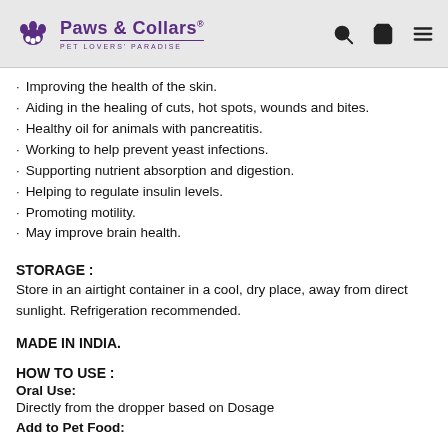Paws & Collars® PET LOVERS' PARADISE
Improving the health of the skin.
Aiding in the healing of cuts, hot spots, wounds and bites.
Healthy oil for animals with pancreatitis.
Working to help prevent yeast infections.
Supporting nutrient absorption and digestion.
Helping to regulate insulin levels.
Promoting motility.
May improve brain health.
STORAGE :
Store in an airtight container in a cool, dry place, away from direct sunlight. Refrigeration recommended.
MADE IN INDIA.
HOW TO USE :
Oral Use:
Directly from the dropper based on Dosage
Add to Pet Food: